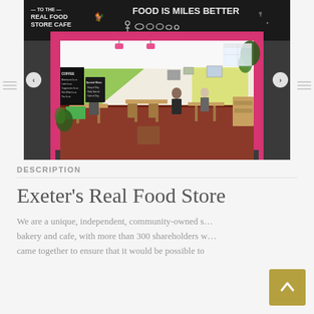[Figure (photo): Interior photo of the Real Food Store Cafe in Exeter. Shows a cafe with dark chalkboard signage at the top reading 'TO THE REAL FOOD STORE CAFE' and 'FOOD IS MILES BETTER', a pink/magenta doorframe entrance, green-yellow accent wall inside, wooden tables and chairs, customers seated, coffee menu board on left, and lush plants on right.]
DESCRIPTION
Exeter's Real Food Store
We are a unique, independent, community-owned store, bakery and cafe, with more than 300 shareholders who came together to ensure that it would be possible to